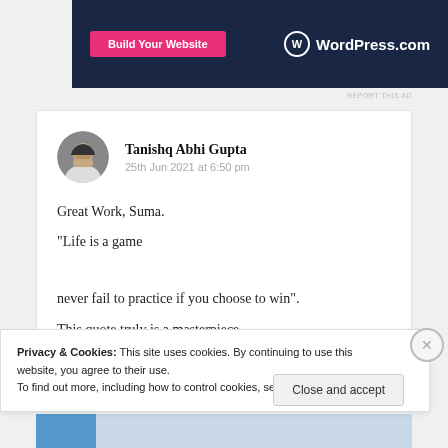[Figure (screenshot): WordPress.com ad banner with 'Build Your Website' pink button on dark navy background]
REPORT THIS AD
Tanishq Abhi Gupta
25th Jun 2021 at 6:50 pm
Great Work, Suma.
“Life is a game

never fail to practice if you choose to win”.

This quote truly is a masterpiece.
Privacy & Cookies: This site uses cookies. By continuing to use this website, you agree to their use.
To find out more, including how to control cookies, see here: Cookie Policy
Close and accept